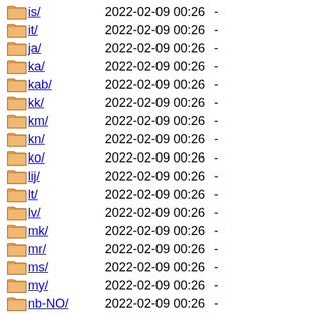is/  2022-02-09 00:26  -
it/  2022-02-09 00:26  -
ja/  2022-02-09 00:26  -
ka/  2022-02-09 00:26  -
kab/  2022-02-09 00:26  -
kk/  2022-02-09 00:26  -
km/  2022-02-09 00:26  -
kn/  2022-02-09 00:26  -
ko/  2022-02-09 00:26  -
lij/  2022-02-09 00:26  -
lt/  2022-02-09 00:26  -
lv/  2022-02-09 00:26  -
mk/  2022-02-09 00:26  -
mr/  2022-02-09 00:26  -
ms/  2022-02-09 00:26  -
my/  2022-02-09 00:26  -
nb-NO/  2022-02-09 00:26  -